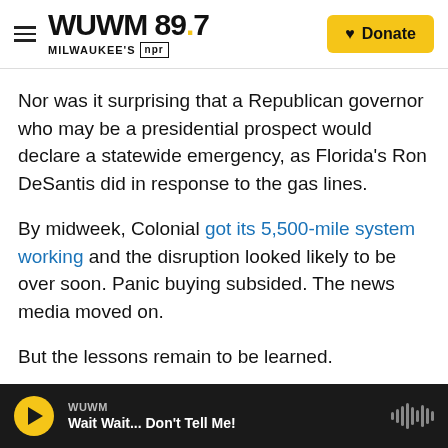WUWM 89.7 MILWAUKEE'S NPR — Donate
Nor was it surprising that a Republican governor who may be a presidential prospect would declare a statewide emergency, as Florida's Ron DeSantis did in response to the gas lines.
By midweek, Colonial got its 5,500-mile system working and the disruption looked likely to be over soon. Panic buying subsided. The news media moved on.
But the lessons remain to be learned.
The Colonial shutdown surely demonstrates the
WUWM — Wait Wait... Don't Tell Me!